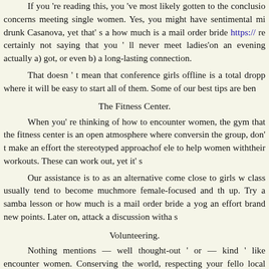If you're reading this, you've most likely gotten to the conclusion concerns meeting single women. Yes, you might have sentimental mi drunk Casanova, yet that's a how much is a mail order bride https://... re certainly not saying that you'll never meet ladies on an evening actually a) got, or even b) a long-lasting connection.
That doesn't mean that conference girls offline is a total dropp where it will be easy to start all of them. Some of our best tips are ben
The Fitness Center.
When you're thinking of how to encounter women, the gym that the fitness center is an open atmosphere where conversing the group, don't make an effort the stereotyped approach of ele to help women with their workouts. These can work out, yet it's
Our assistance is to as an alternative come close to girls w class usually tend to become much more female-focused and th up. Try a samba lesson or how much is a mail order bride a yog an effort brand new points. Later on, attack a discussion with a s
Volunteering.
Nothing mentions — well thought-out ' or — kind ' like encounter women. Conserving the world, respecting your fello local area charity or even occasion where you can easily help bond with while you work. Offering services definitely is just o